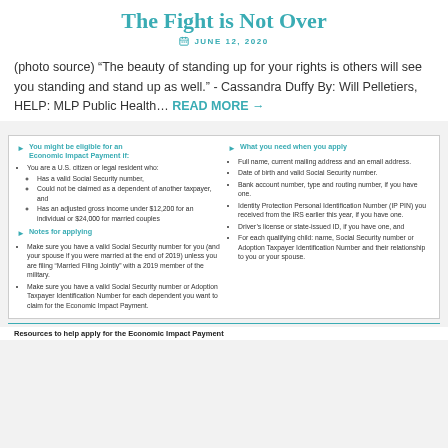The Fight is Not Over
JUNE 12, 2020
(photo source) “The beauty of standing up for your rights is others will see you standing and stand up as well.” - Cassandra Duffy By: Will Pelletiers, HELP: MLP Public Health… READ MORE →
You might be eligible for an Economic Impact Payment if: You are a U.S. citizen or legal resident who: Has a valid Social Security number, Could not be claimed as a dependent of another taxpayer, and Has an adjusted gross income under $12,200 for an individual or $24,000 for married couples
Notes for applying: Make sure you have a valid Social Security number for you (and your spouse if you were married at the end of 2019) unless you are filing “Married Filing Jointly” with a 2019 member of the military. Make sure you have a valid Social Security number or Adoption Taxpayer Identification Number for each dependent you want to claim for the Economic Impact Payment.
What you need when you apply: Full name, current mailing address and an email address. Date of birth and valid Social Security number. Bank account number, type and routing number, if you have one. Identity Protection Personal Identification Number (IP PIN) you received from the IRS earlier this year, if you have one. Driver’s license or state-issued ID, if you have one, and For each qualifying child: name, Social Security number or Adoption Taxpayer Identification Number and their relationship to you or your spouse.
Resources to help apply for the Economic Impact Payment